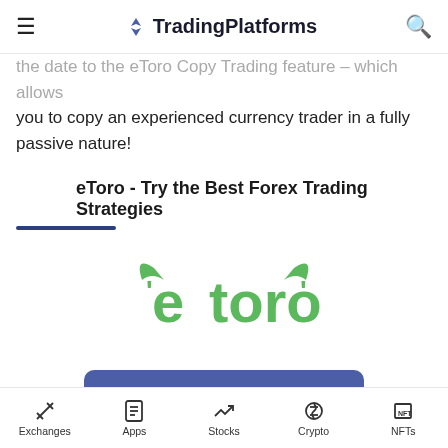TradingPlatforms
the date to the eToro Copy Trading feature – which allows you to copy an experienced currency trader in a fully passive nature!
eToro - Try the Best Forex Trading Strategies
[Figure (logo): eToro green logo with bull horns]
[Figure (other): Visit eToro Now button]
Exchanges  Apps  Stocks  Crypto  NFTs